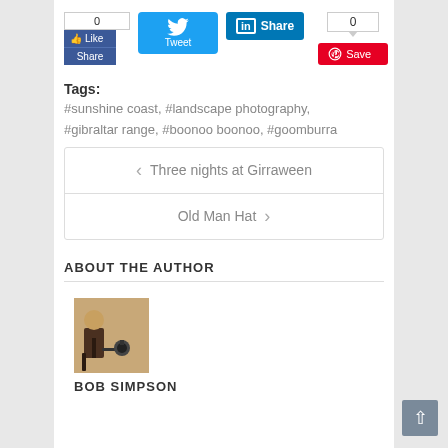[Figure (screenshot): Social sharing buttons: Facebook Like/Share (0), Twitter Tweet, LinkedIn Share, Pinterest Save (0)]
Tags: #sunshine coast, #landscape photography, #gibraltar range, #boonoo boonoo, #goomburra
< Three nights at Girraween
Old Man Hat >
ABOUT THE AUTHOR
[Figure (photo): Photo of Bob Simpson, a photographer with camera on tripod]
BOB SIMPSON